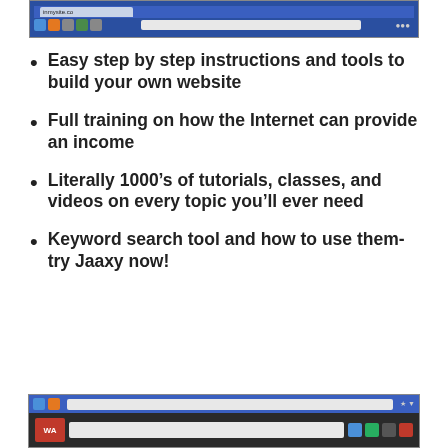[Figure (screenshot): Browser window screenshot showing a website, top portion visible with blue browser chrome and URL bar]
Easy step by step instructions and tools to build your own website
Full training on how the Internet can provide an income
Literally 1000’s of tutorials, classes, and videos on every topic you’ll ever need
Keyword search tool and how to use them- try Jaaxy now!
[Figure (screenshot): Browser window screenshot showing bottom portion of a website with dark background, logo, and search bar]